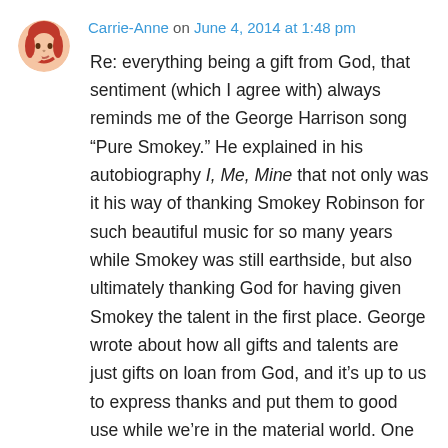Carrie-Anne on June 4, 2014 at 1:48 pm
Re: everything being a gift from God, that sentiment (which I agree with) always reminds me of the George Harrison song “Pure Smokey.” He explained in his autobiography I, Me, Mine that not only was it his way of thanking Smokey Robinson for such beautiful music for so many years while Smokey was still earthside, but also ultimately thanking God for having given Smokey the talent in the first place. George wrote about how all gifts and talents are just gifts on loan from God, and it’s up to us to express thanks and put them to good use while we’re in the material world. One of the lines in the song is “I want to thank you Lord for giving us/Pure